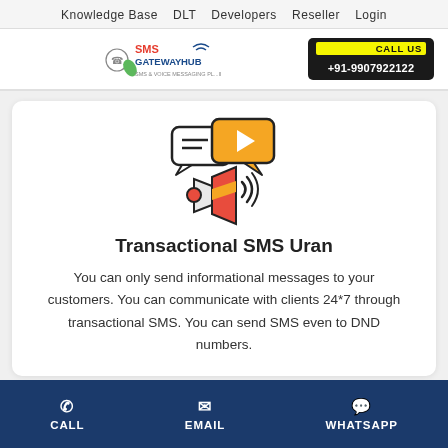Knowledge Base   DLT   Developers   Reseller   Login
[Figure (logo): SMS Gateway Hub logo with phone icon and tagline, alongside CALL US +91-9907922122 box]
[Figure (illustration): Icon of a megaphone/speaker with speech bubbles (one containing lines, one containing a play button triangle), orange and white colors with black outlines]
Transactional SMS Uran
You can only send informational messages to your customers. You can communicate with clients 24*7 through transactional SMS. You can send SMS even to DND numbers.
CALL   EMAIL   WHATSAPP